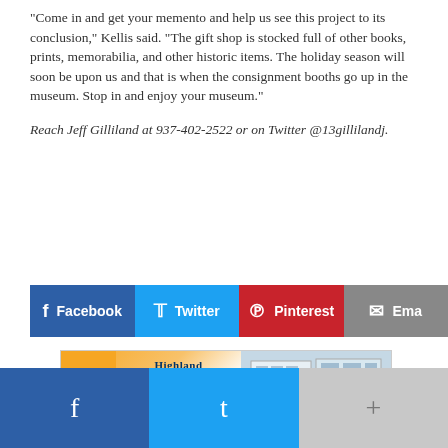“Come in and get your memento and help us see this project to its conclusion,” Kellis said. “The gift shop is stocked full of other books, prints, memorabilia, and other historic items. The holiday season will soon be upon us and that is when the consignment booths go up in the museum. Stop in and enjoy your museum.”
Reach Jeff Gilliland at 937-402-2522 or on Twitter @13gillilandj.
[Figure (infographic): Social share buttons: Facebook (blue), Twitter (light blue), Pinterest (red), Email (gray)]
[Figure (infographic): Highland District Hospital advertisement banner. 937.393.6100 | www.HDH.org. 1275 North High Street, Hillsboro, Ohio 45133]
[Figure (infographic): Bottom social bar with Facebook (blue), Twitter (light blue), and more (+) buttons]